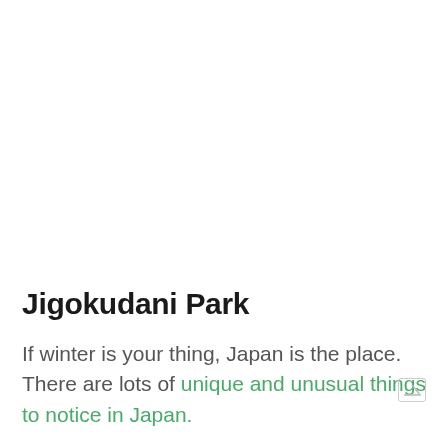Jigokudani Park
If winter is your thing, Japan is the place. There are lots of unique and unusual things to notice in Japan.